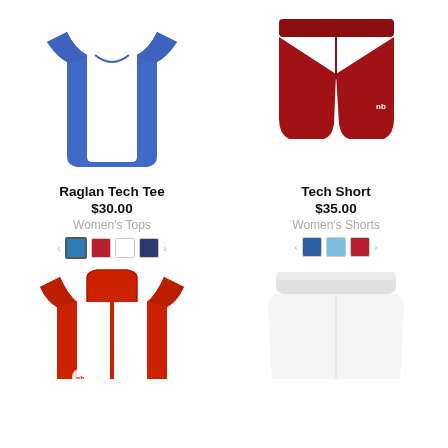[Figure (photo): Blue women's raglan tech tee shirt on white background]
[Figure (photo): Dark red/maroon women's tech shorts on white background]
Raglan Tech Tee
$30.00
Women's Tops
Tech Short
$35.00
Women's Shorts
[Figure (photo): Red women's zip-up jacket on white background]
[Figure (photo): White women's skort on white background]